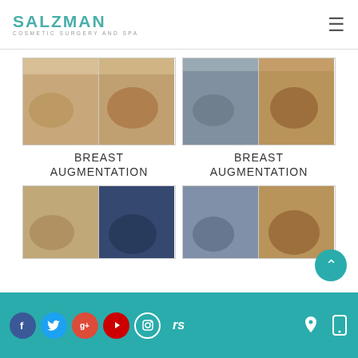[Figure (logo): Salzman Cosmetic Surgery and Spa logo in teal/green color]
[Figure (photo): Breast augmentation before/after photo pair 1 - side profile views]
BREAST AUGMENTATION
[Figure (photo): Breast augmentation before/after photo pair 2 - side profile views]
BREAST AUGMENTATION
[Figure (photo): Breast augmentation before/after photo pair 3 - partial view]
[Figure (photo): Breast augmentation before/after photo pair 4 - partial view]
Social media icons: Facebook, Twitter, Google+, YouTube, Instagram, RealSelf; location and phone icons